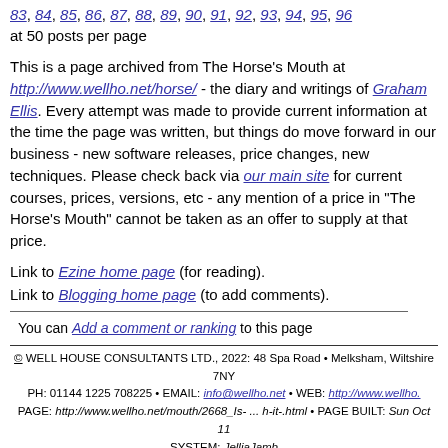83, 84, 85, 86, 87, 88, 89, 90, 91, 92, 93, 94, 95, 96
at 50 posts per page
This is a page archived from The Horse's Mouth at http://www.wellho.net/horse/ - the diary and writings of Graham Ellis. Every attempt was made to provide current information at the time the page was written, but things do move forward in our business - new software releases, price changes, new techniques. Please check back via our main site for current courses, prices, versions, etc - any mention of a price in "The Horse's Mouth" cannot be taken as an offer to supply at that price.
Link to Ezine home page (for reading).
Link to Blogging home page (to add comments).
You can Add a comment or ranking to this page
© WELL HOUSE CONSULTANTS LTD., 2022: 48 Spa Road • Melksham, Wiltshire 7NY
PH: 01144 1225 708225 • EMAIL: info@wellho.net • WEB: http://www.wellho...
PAGE: http://www.wellho.net/mouth/2668_Is- ... h-it-.html • PAGE BUILT: Sun Oct 11...
SYSTEM: JelliaJamb